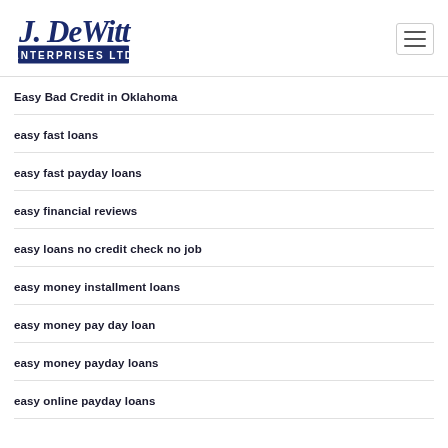[Figure (logo): J. DeWitt Enterprises Ltd company logo in dark navy blue]
Easy Bad Credit in Oklahoma
easy fast loans
easy fast payday loans
easy financial reviews
easy loans no credit check no job
easy money installment loans
easy money pay day loan
easy money payday loans
easy online payday loans